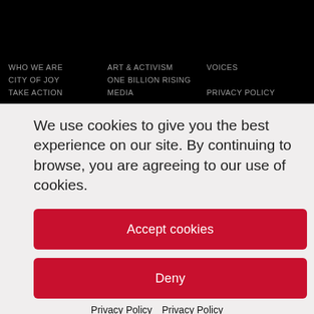WHO WE ARE  ART & ACTIVISM  VOICES
CITY OF JOY  ONE BILLION RISING
TAKE ACTION  MEDIA  PRIVACY POLICY
We use cookies to give you the best experience on our site. By continuing to browse, you are agreeing to our use of cookies.
Accept cookies
Deny
Privacy Policy  Privacy Policy